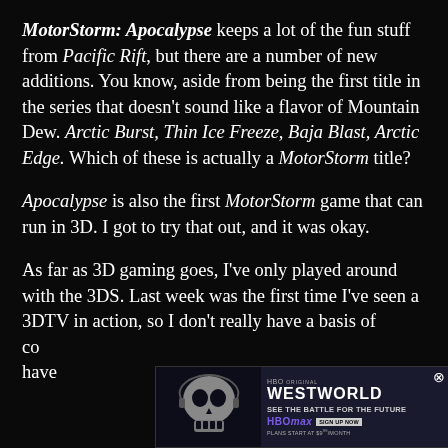MotorStorm: Apocalypse keeps a lot of the fun stuff from Pacific Rift, but there are a number of new additions. You know, aside from being the first title in the series that doesn't sound like a flavor of Mountain Dew. Arctic Burst, Thin Ice Freeze, Baja Blast, Arctic Edge. Which of these is actually a MotorStorm title?
Apocalypse is also the first MotorStorm game that can run in 3D. I got to try that out, and it was okay.
As far as 3D gaming goes, I've only played around with the 3DS. Last week was the first time I've seen a 3DTV in action, so I don't really have a basis of comparison. But I can tell you that the depth of field effect did have some moments that looked really badass. st
[Figure (other): Advertisement overlay for Westworld on HBO Max, partially obscuring the bottom of the text. Shows a skull image on the left, 'WESTWORLD' title in bold white text, 'SEE THE BATTLE FOR THE FUTURE' tagline, HBO Max logo with sign up button, and 'PLANS START AT $9.99/MONTH' text. Has a close (X) button in the top right.]